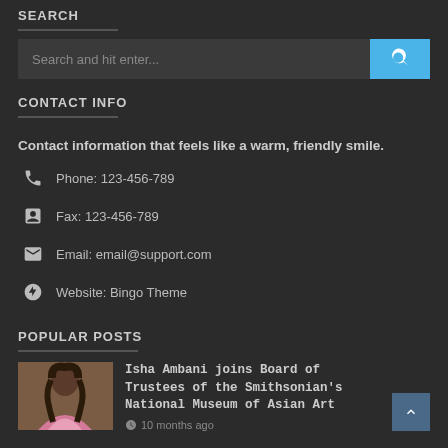SEARCH
[Figure (other): Search input field with blue search button containing magnifying glass icon]
CONTACT INFO
Contact information that feels like a warm, friendly smile.
Phone: 123-456-789
Fax: 123-456-789
Email: email@support.com
Website: Bingo Theme
POPULAR POSTS
Isha Ambani joins Board of Trustees of the Smithsonian's National Museum of Asian Art
10 months ago